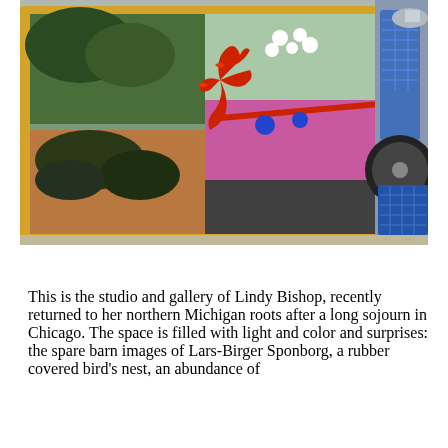[Figure (photo): A photograph showing an art studio and gallery display. A glass-topped display case or table with a yellow frame contains a colorful diorama or artwork featuring a red abstract bird/rooster figure on a stick or rod, with blue spheres, set against a pink/magenta surface and natural/desert-like ground with dark shrubbery. To the right side of the frame is a blue wireframe shopping cart with a wheel visible. The scene is set on what appears to be a sidewalk or outdoor area.]
This is the studio and gallery of Lindy Bishop, recently returned to her northern Michigan roots after a long sojourn in Chicago. The space is filled with light and color and surprises: the spare barn images of Lars-Birger Sponborg, a rubber covered bird's nest, an abundance of